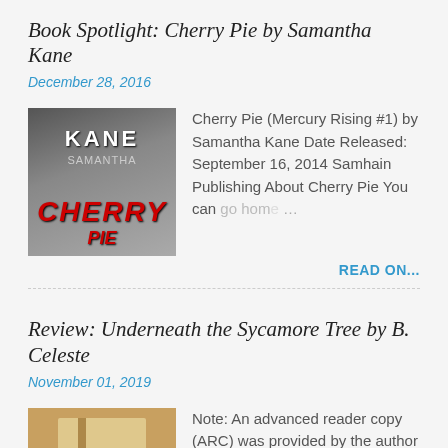Book Spotlight: Cherry Pie by Samantha Kane
December 28, 2016
[Figure (illustration): Book cover for Cherry Pie by Samantha Kane showing a woman in a tank top with KANE text at top and CHERRY PIE in red text]
Cherry Pie (Mercury Rising #1) by Samantha Kane Date Released: September 16, 2014 Samhain Publishing About Cherry Pie You can go home …
READ ON...
Review: Underneath the Sycamore Tree by B. Celeste
November 01, 2019
[Figure (illustration): Book cover for Underneath the Sycamore Tree showing a window with autumn leaves]
Note: An advanced reader copy (ARC) was provided by the author via Give Me Books Promotions. For once, I wish I was seeing …
READ ON...